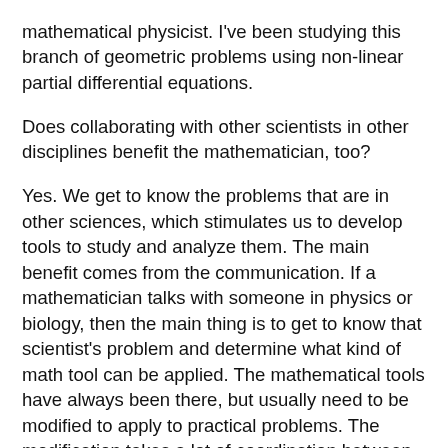mathematical physicist. I've been studying this branch of geometric problems using non-linear partial differential equations.
Does collaborating with other scientists in other disciplines benefit the mathematician, too?
Yes. We get to know the problems that are in other sciences, which stimulates us to develop tools to study and analyze them. The main benefit comes from the communication. If a mathematician talks with someone in physics or biology, then the main thing is to get to know that scientist's problem and determine what kind of math tool can be applied. The mathematical tools have always been there, but usually need to be modified to apply to practical problems. The modification takes a lot of coordination between different groups of people. Usually, the theory is much more advanced than the practical applications, but that doesn't mean it cannot be applied immediately. To apply it, one needs to adjust it. The real challenge is how to adjust a model or tool to apply to real problems.
The real challenge is how to adjust a model or tool to apply to real problems.